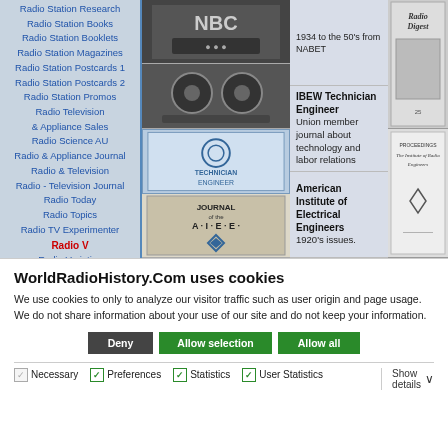Radio Station Research
Radio Station Books
Radio Station Booklets
Radio Station Magazines
Radio Station Postcards 1
Radio Station Postcards 2
Radio Station Promos
Radio Television & Appliance Sales
Radio Science AU
Radio & Appliance Journal
Radio & Television
Radio - Television Journal
Radio Today
Radio Topics
Radio TV Experimenter
Radio V
Radio Varieties
Radio Vision
[Figure (photo): NBC microphone/radio station equipment photo]
1934 to the 50's from NABET
[Figure (photo): Tape recorder/reel-to-reel equipment photo]
IBEW Technician Engineer
Union member journal about technology and labor relations
[Figure (photo): IBEW Technician Engineer journal cover]
[Figure (photo): Journal of the AIEE cover]
American Institute of Electrical Engineers
1920's issues.
[Figure (photo): Radio Digest magazine cover]
[Figure (photo): Proceedings of The Institute of Radio Engineers cover]
WorldRadioHistory.Com uses cookies
We use cookies to only to analyze our visitor traffic such as user origin and page usage. We do not share information about your use of our site and do not keep your information.
Deny | Allow selection | Allow all
Necessary  Preferences  Statistics  User Statistics  Show details